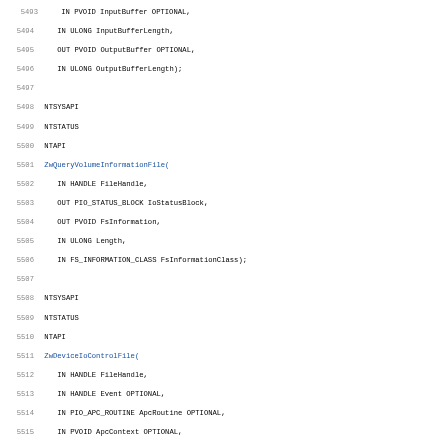Source code listing lines 5493-5524 showing Windows NT API function declarations for ZwQueryVolumeInformationFile and ZwDeviceIoControlFile